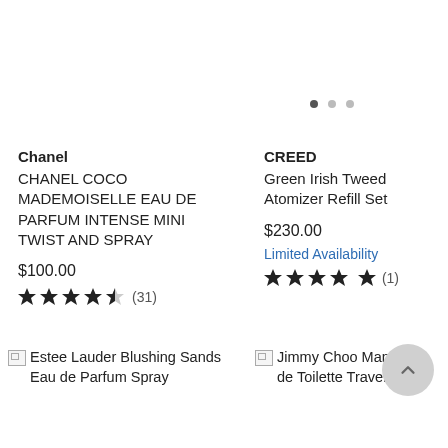[Figure (other): Carousel pagination dots: one filled, two empty]
Chanel
CHANEL COCO MADEMOISELLE EAU DE PARFUM INTENSE MINI TWIST AND SPRAY
$100.00
★★★★½ (31)
CREED
Green Irish Tweed Atomizer Refill Set
$230.00
Limited Availability
★★★★★ (1)
[Figure (photo): Broken image placeholder for Estee Lauder Blushing Sands Eau de Parfum Spray]
[Figure (photo): Broken image placeholder for Jimmy Choo Man Eau de Toilette Travel Spray]